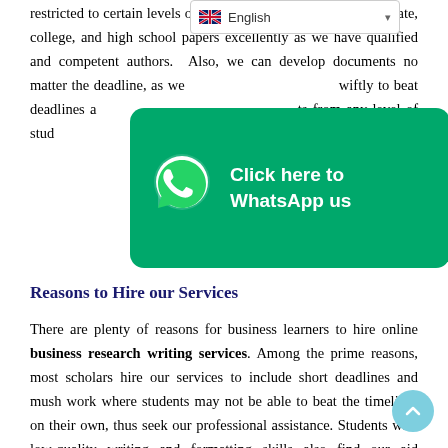restricted to certain levels of study. Ph.D., masters, undergraduate, college, and high school papers excellently as we have qualified and competent authors. Also, we can develop documents no matter the deadline, as we work swiftly to beat deadlines and help students from any level of study.
[Figure (other): WhatsApp banner overlay with green background, WhatsApp phone icon on the left, and white bold text reading 'Click here to WhatsApp us']
Reasons to Hire our Services
There are plenty of reasons for business learners to hire online business research writing services. Among the prime reasons, most scholars hire our services to include short deadlines and mush work where students may not be able to beat the timelines on their own, thus seek our professional assistance. Students with low-quality writing and formatting skills also find our aid varsities, and most business schools have standards set for the delivery and appearance of each document. Students who have developed their papers but require their articles to be well paraphrased also enjoy our unique services. Our reputation for delivering top-notch papers also attracts the majority of students that use our online writing services.